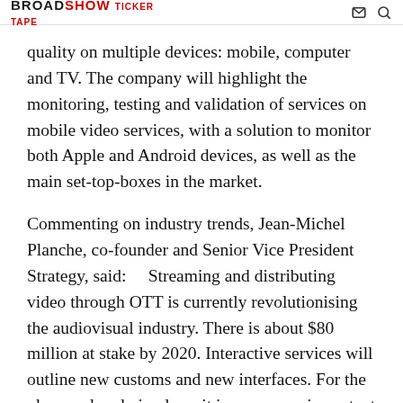BROADSHOW [logo]
quality on multiple devices: mobile, computer and TV. The company will highlight the monitoring, testing and validation of services on mobile video services, with a solution to monitor both Apple and Android devices, as well as the main set-top-boxes in the market.
Commenting on industry trends, Jean-Michel Planche, co-founder and Senior Vice President Strategy, said:    Streaming and distributing video through OTT is currently revolutionising the audiovisual industry. There is about $80 million at stake by 2020. Interactive services will outline new customs and new interfaces. For the players already in place, it is now more important than ever to deliver the best user experience, to match at least the one from the big ones (Google, Amazon…